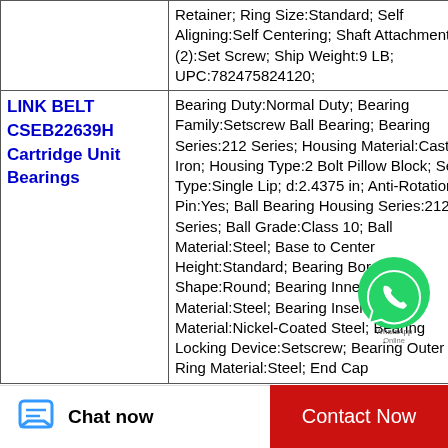| Product | Description |
| --- | --- |
|  | Retainer; Ring Size:Standard; Self Aligning:Self Centering; Shaft Attachment (2):Set Screw; Ship Weight:9 LB; UPC:782475824120; |
| LINK BELT CSEB22639H Cartridge Unit Bearings | Bearing Duty:Normal Duty; Bearing Family:Setscrew Ball Bearing; Bearing Series:212 Series; Housing Material:Cast Iron; Housing Type:2 Bolt Pillow Block; Seal Type:Single Lip; d:2.4375 in; Anti-Rotation Pin:Yes; Ball Bearing Housing Series:212 Series; Ball Grade:Class 10; Ball Material:Steel; Base to Center Height:Standard; Bearing Bore Shape:Round; Bearing Inner Ring Material:Steel; Bearing Insert Material:Nickel-Coated Steel; Bearing Locking Device:Setscrew; Bearing Outer Ring Material:Steel; End Cap |
Chat now
Contact Now